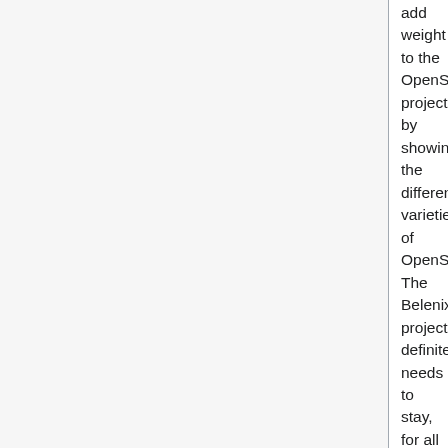add weight to the OpenSolaris project by showing the different varieties of OpenSolaris. The Belenix project definitely needs to stay, for all the mentioned above, it is a complete package. The AuroraUX project although new is creating a lot of interest, not only because it is a OpenSolaris distro, because it is one of the few operating systems to have an Ada userland. A release distro for the AuroraUX project is not to far away, and then more info will be added to wikipedia. The Milax and Schillix pages do need extra information, but are complete and useful packages.craigvv (talk) 20:02, 4 July 2009 (UTC)Reply
[reply]